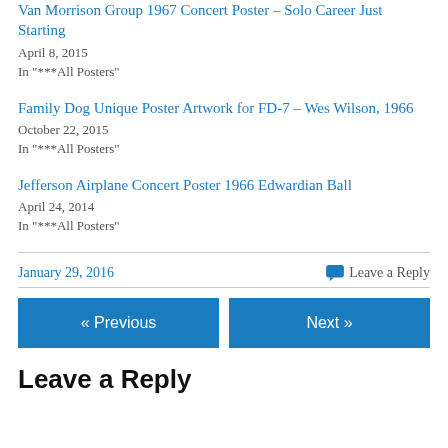Van Morrison Group 1967 Concert Poster – Solo Career Just Starting
April 8, 2015
In "***All Posters"
Family Dog Unique Poster Artwork for FD-7 – Wes Wilson, 1966
October 22, 2015
In "***All Posters"
Jefferson Airplane Concert Poster 1966 Edwardian Ball
April 24, 2014
In "***All Posters"
January 29, 2016
Leave a Reply
« Previous
Next »
Leave a Reply